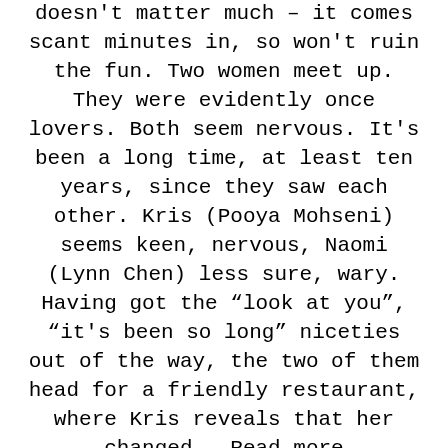doesn't matter much – it comes scant minutes in, so won't ruin the fun. Two women meet up. They were evidently once lovers. Both seem nervous. It's been a long time, at least ten years, since they saw each other. Kris (Pooya Mohseni) seems keen, nervous, Naomi (Lynn Chen) less sure, wary. Having got the “look at you”, “it's been so long” niceties out of the way, the two of them head for a friendly restaurant, where Kris reveals that her changed … Read more